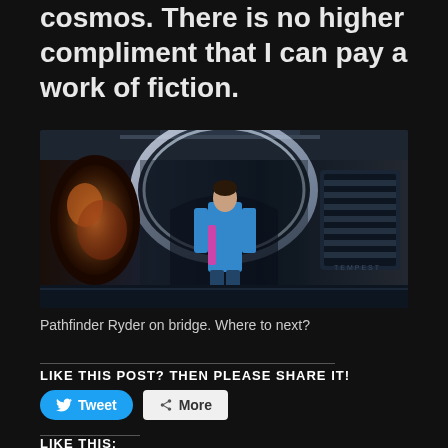cosmos. There is no higher compliment that I can pay a work of fiction.
[Figure (photo): Screenshot from Mass Effect Andromeda game showing Pathfinder Ryder character in a blue suit standing on the bridge of a spaceship with sci-fi interior design]
Pathfinder Ryder on bridge. Where to next?
LIKE THIS POST? THEN PLEASE SHARE IT!
LIKE THIS: